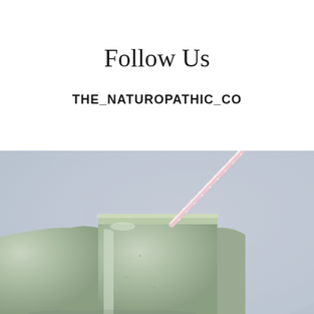Follow Us
THE_NATUROPATHIC_CO
[Figure (photo): A pale green mason jar with a white and pink striped paper straw, photographed against a light blue-grey background. The jar appears to contain a green smoothie or drink. The composition is cropped to show the upper portion of the jar.]